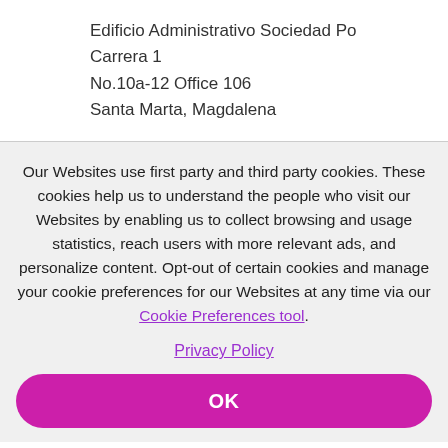Edificio Administrativo Sociedad Po
Carrera 1
No.10a-12 Office 106
Santa Marta, Magdalena
Our Websites use first party and third party cookies. These cookies help us to understand the people who visit our Websites by enabling us to collect browsing and usage statistics, reach users with more relevant ads, and personalize content. Opt-out of certain cookies and manage your cookie preferences for our Websites at any time via our Cookie Preferences tool.
Privacy Policy
OK